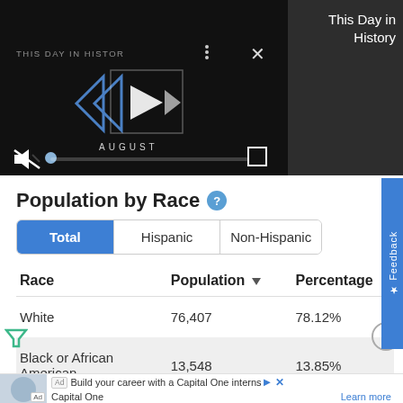[Figure (screenshot): Video player showing 'This Day in History' with play controls, mute button, progress bar, and fullscreen button on dark background. Right panel shows 'This Day in History' label.]
Population by Race ?
Total | Hispanic | Non-Hispanic (tab selector)
| Race | Population ▼ | Percentage |
| --- | --- | --- |
| White | 76,407 | 78.12% |
| Black or African American | 13,548 | 13.85% |
[Figure (screenshot): Ad banner: 'Build your career with a Capital One internship' - Capital One - Learn more]
Feedback (vertical tab on right side)